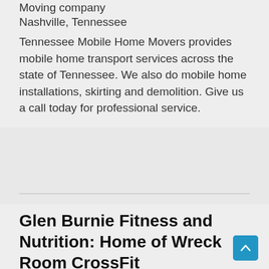Moving company
Nashville, Tennessee
Tennessee Mobile Home Movers provides mobile home transport services across the state of Tennessee. We also do mobile home installations, skirting and demolition. Give us a call today for professional service.
Glen Burnie Fitness and Nutrition: Home of Wreck Room CrossFit
Gym
Glen Burnie, Maryland
Join the hundreds of other people who